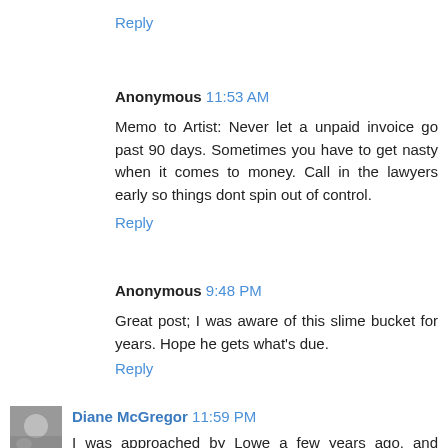Reply
Anonymous 11:53 AM
Memo to Artist: Never let a unpaid invoice go past 90 days. Sometimes you have to get nasty when it comes to money. Call in the lawyers early so things dont spin out of control.
Reply
Anonymous 9:48 PM
Great post; I was aware of this slime bucket for years. Hope he gets what's due.
Reply
Diane McGregor 11:59 PM
I was approached by Lowe a few years ago, and luckily found out from an Atlanta artist friend that he was trouble. We all must help each other. Artists do your homework